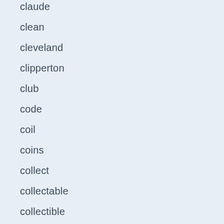claude
clean
cleveland
clipperton
club
code
coil
coins
collect
collectable
collectible
collection
collections
collectors
colorado
colored